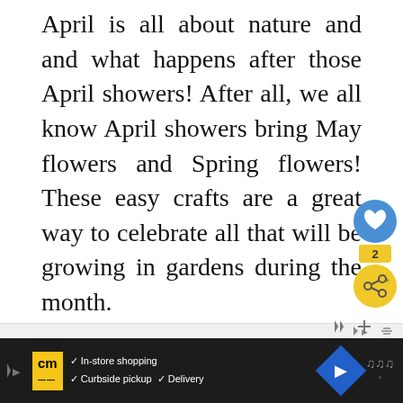April is all about nature and and what happens after those April showers!  After all, we all know April showers bring May flowers and Spring flowers!  These easy crafts are a great way to celebrate all that will be growing in gardens during the month.
Many of these are simple enough for even the tiniest of hands.  Whereas others, such as the realistic-looking crepe flowers, are a little more detailed for older children. Several of these crafts even use real flowers you find outside!  Check out all of the flower crafts below!
[Figure (other): Social sharing buttons: blue heart/save button and yellow share button with count badge '2']
[Figure (other): Advertisement banner: CM logo in yellow, checkmarks for In-store shopping, Curbside pickup, Delivery, blue diamond navigation button, wave/audio icon]